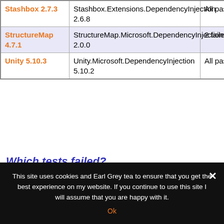|  |  |  |
| --- | --- | --- |
| Stashbox 2.7.3 | Stashbox.Extensions.DependencyInjection 2.6.8 | All passed |
| StructureMap 4.7.1 | StructureMap.Microsoft.DependencyInjection 2.0.0 | 2 failed |
| Unity 5.10.3 | Unity.Microsoft.DependencyInjection 5.10.2 | All passed |
Which tests failed?
It's instructive to see which tests failed. All but one of the failing tests failed for more than one container.
This site uses cookies and Earl Grey tea to ensure that you get the best experience on my website. If you continue to use this site I will assume that you are happy with it.